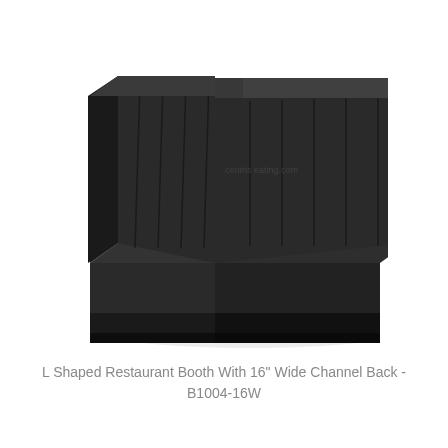[Figure (photo): A black L-shaped restaurant booth with a 16-inch wide channel back, shown in a perspective/3D product photo. The booth is upholstered in black vinyl with vertical channel stitching on the back and forms an L-shape corner seating configuration on a dark base.]
L Shaped Restaurant Booth With 16" Wide Channel Back - B1004-16W